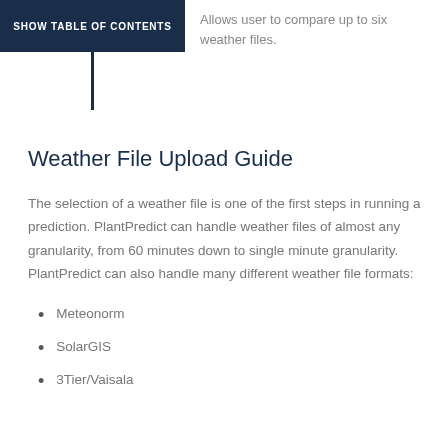SHOW TABLE OF CONTENTS
Allows user to compare up to six weather files.
Weather File Upload Guide
The selection of a weather file is one of the first steps in running a prediction. PlantPredict can handle weather files of almost any granularity, from 60 minutes down to single minute granularity. PlantPredict can also handle many different weather file formats:
Meteonorm
SolarGIS
3Tier/Vaisala